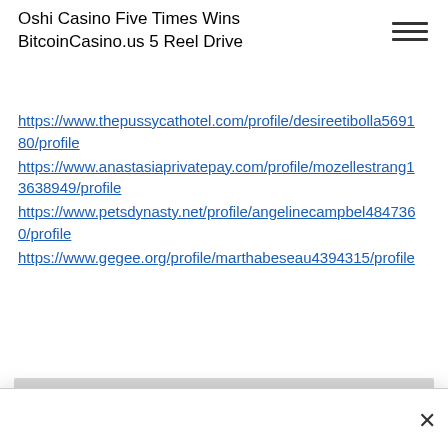Oshi Casino Five Times Wins
BitcoinCasino.us 5 Reel Drive
https://www.thepussycathotel.com/profile/desireetibolla569180/profile
https://www.anastasiaprivatepay.com/profile/mozellestrang13638949/profile
https://www.petsdynasty.net/profile/angelinecampbel4847360/profile
https://www.gegee.org/profile/marthabeseau4394315/profile
We use cookies and similar technologies to enable services and functionality on our site and to understand your interaction with our service. By clicking on accept, you agree to our use of such technologies for marketing and analytics. See Privacy Policy
Cookie Settings | Accept